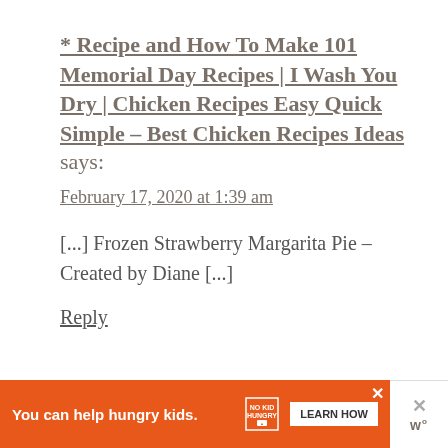* Recipe and How To Make 101 Memorial Day Recipes | I Wash You Dry | Chicken Recipes Easy Quick Simple – Best Chicken Recipes Ideas says: February 17, 2020 at 1:39 am
[...] Frozen Strawberry Margarita Pie –  Created by Diane [...]
Reply
[Figure (other): Orange advertisement banner: 'You can help hungry kids.' with No Kid Hungry logo and 'LEARN HOW' button, with close X button. Side panel with X and W logo.]